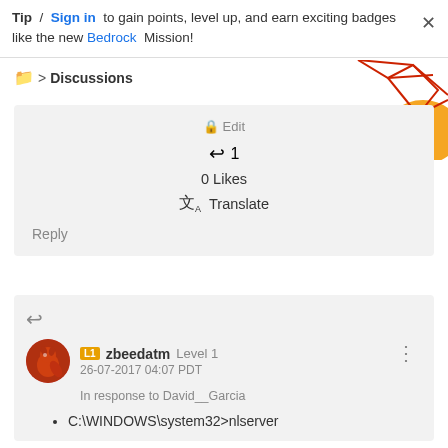Tip / Sign in to gain points, level up, and earn exciting badges like the new Bedrock Mission!
Discussions
[Figure (illustration): Decorative geometric red line art with orange shape, top-right corner]
1
0 Likes
Translate
Reply
zbeedatm Level 1
26-07-2017 04:07 PDT
In response to David__Garcia
C:\WINDOWS\system32>nlserver